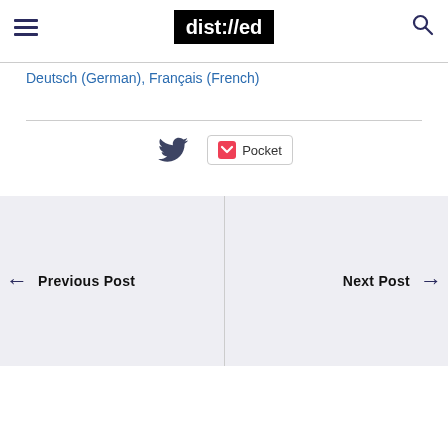dist://ed
Deutsch (German), Français (French)
[Figure (logo): Twitter bird icon (dark navy)]
[Figure (logo): Pocket save button with red pocket icon and label 'Pocket']
← Previous Post
Next Post →